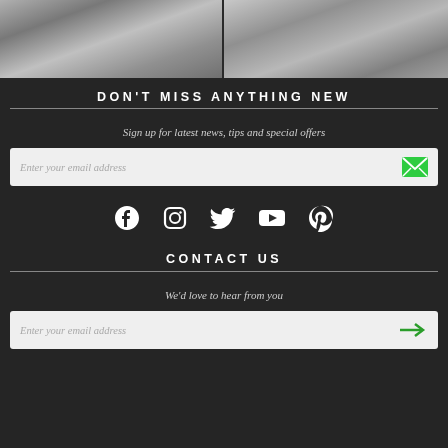[Figure (photo): Two grayscale food photos side by side at the top of the page]
DON'T MISS ANYTHING NEW
Sign up for latest news, tips and special offers
[Figure (other): Email input field with green envelope icon and placeholder text 'Enter your email address']
[Figure (other): Social media icons row: Facebook, Instagram, Twitter, YouTube, Pinterest]
CONTACT US
We'd love to hear from you
[Figure (other): Email input field with green arrow icon and placeholder text 'Enter your email address']